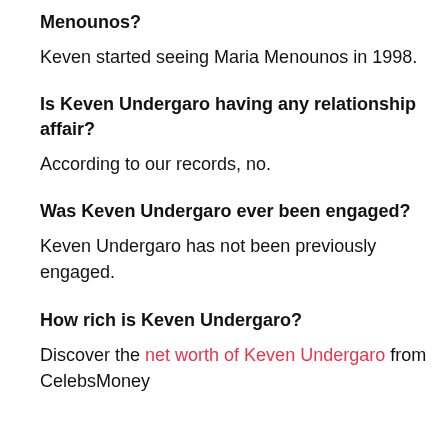Menounos?
Keven started seeing Maria Menounos in 1998.
Is Keven Undergaro having any relationship affair?
According to our records, no.
Was Keven Undergaro ever been engaged?
Keven Undergaro has not been previously engaged.
How rich is Keven Undergaro?
Discover the net worth of Keven Undergaro from CelebsMoney